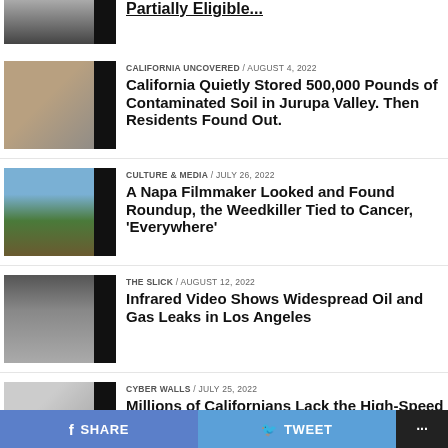[Figure (photo): Top partial article thumbnail - building facade]
Partially visible headline at top
[Figure (photo): Boxes and containers with soil samples]
CALIFORNIA UNCOVERED / August 4, 2022
California Quietly Stored 500,000 Pounds of Contaminated Soil in Jurupa Valley. Then Residents Found Out.
[Figure (photo): Vineyard rows with green vines and blue sky]
CULTURE & MEDIA / July 26, 2022
A Napa Filmmaker Looked and Found Roundup, the Weedkiller Tied to Cancer, 'Everywhere'
[Figure (photo): Infrared image showing gas/smoke leaks]
THE SLICK / August 12, 2022
Infrared Video Shows Widespread Oil and Gas Leaks in Los Angeles
[Figure (photo): Stack of papers or documents]
CYBER WALLS / July 25, 2022
Millions of Californians Lack the High-Speed Internet Capacity Needed to Get a Job
SHARE   TWEET   ...